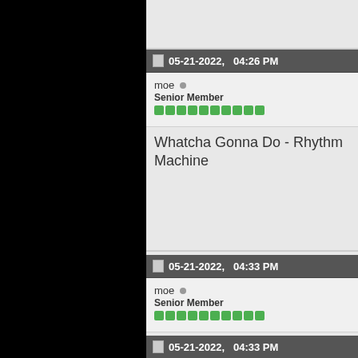05-21-2022, 04:26 PM
moe
Senior Member
Whatcha Gonna Do - Rhythm Machine
05-21-2022, 04:33 PM
moe
Senior Member
Keep On Lovin' You - Otto & The Sens
05-21-2022, 04:33 PM